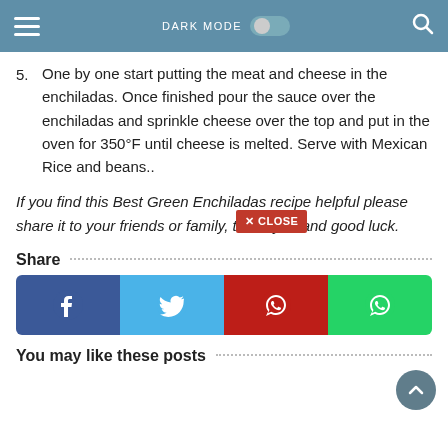DARK MODE [toggle] [search]
5. One by one start putting the meat and cheese in the enchiladas. Once finished pour the sauce over the enchiladas and sprinkle cheese over the top and put in the oven for 350°F until cheese is melted. Serve with Mexican Rice and beans..
If you find this Best Green Enchiladas recipe helpful please share it to your friends or family, thank you and good luck.
Share
[Figure (other): Social share buttons row: Facebook, Twitter, Pinterest, WhatsApp]
You may like these posts